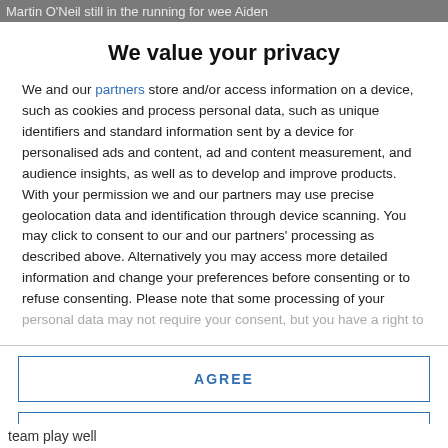Martin O'Neil still in the running for wee Aiden
We value your privacy
We and our partners store and/or access information on a device, such as cookies and process personal data, such as unique identifiers and standard information sent by a device for personalised ads and content, ad and content measurement, and audience insights, as well as to develop and improve products. With your permission we and our partners may use precise geolocation data and identification through device scanning. You may click to consent to our and our partners' processing as described above. Alternatively you may access more detailed information and change your preferences before consenting or to refuse consenting. Please note that some processing of your personal data may not require your consent, but you have a right to
AGREE
MORE OPTIONS
team play well